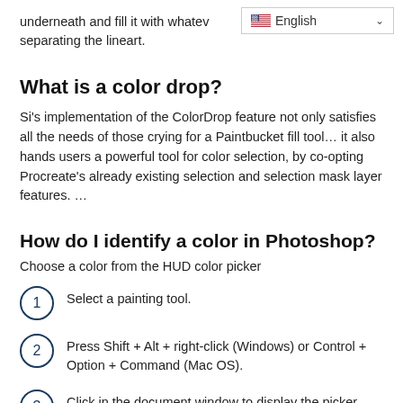underneath and fill it with whatev separating the lineart.
[Figure (other): Language selector widget showing English with US flag and dropdown chevron]
What is a color drop?
Si's implementation of the ColorDrop feature not only satisfies all the needs of those crying for a Paintbucket fill tool… it also hands users a powerful tool for color selection, by co-opting Procreate's already existing selection and selection mask layer features. …
How do I identify a color in Photoshop?
Choose a color from the HUD color picker
Select a painting tool.
Press Shift + Alt + right-click (Windows) or Control + Option + Command (Mac OS).
Click in the document window to display the picker. Then drag to select a color hue and shade. Note: